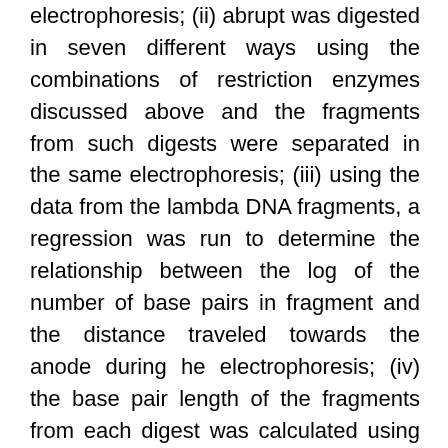electrophoresis; (ii) abrupt was digested in seven different ways using the combinations of restriction enzymes discussed above and the fragments from such digests were separated in the same electrophoresis; (iii) using the data from the lambda DNA fragments, a regression was run to determine the relationship between the log of the number of base pairs in fragment and the distance traveled towards the anode during he electrophoresis; (iv) the base pair length of the fragments from each digest was calculated using the relationship determined from the lambda DNA data; and (v) the length of the fragments produced by the different digests were analyzed to produce a map, as will be discussed below.